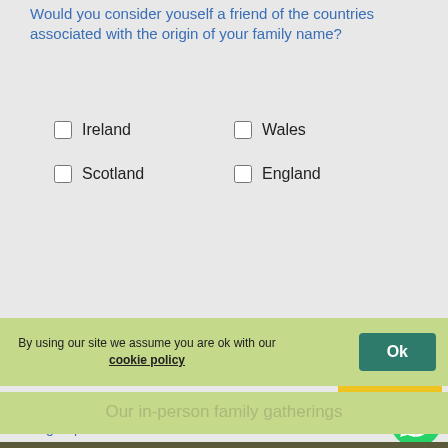Would you consider youself a friend of the countries associated with the origin of your family name?
Ireland
Wales
Scotland
England
Add your ROBINSON email
SUBMIT
Don't forget to share within your family whatsapp groups
[Figure (logo): WhatsApp green phone icon]
By using our site we assume you are ok with our cookie policy
Ok
Our in-person family gatherings